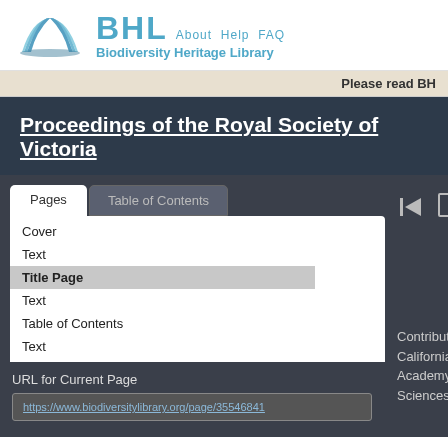BHL  About  Help  FAQ
Biodiversity Heritage Library
Please read BH
Proceedings of the Royal Society of Victoria
[Figure (screenshot): BHL book reader interface showing Pages and Table of Contents tabs, a page list with Cover, Text, Title Page (selected/highlighted), Text, Table of Contents, Text entries, and a URL for Current Page field showing https://www.biodiversitylibrary.org/page/35546841. Navigation icons (back, document, split view) visible on the right panel.]
Contributed by California Academy of Sciences